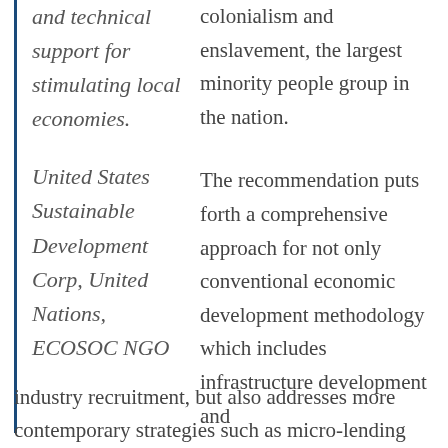and technical support for stimulating local economies.
United States Sustainable Development Corp, United Nations, ECOSOC NGO
colonialism and enslavement, the largest minority people group in the nation.
The recommendation puts forth a comprehensive approach for not only conventional economic development methodology which includes infrastructure development and
industry recruitment, but also addresses more contemporary strategies such as micro-lending